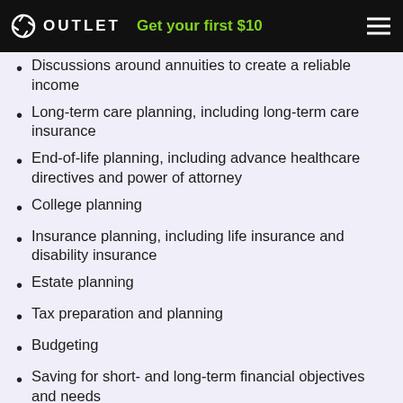OUTLET  Get your first $10
Discussions around annuities to create a reliable income
Long-term care planning, including long-term care insurance
End-of-life planning, including advance healthcare directives and power of attorney
College planning
Insurance planning, including life insurance and disability insurance
Estate planning
Tax preparation and planning
Budgeting
Saving for short- and long-term financial objectives and needs
Business and succession planning